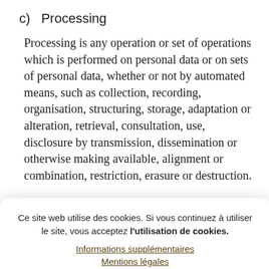c)   Processing
Processing is any operation or set of operations which is performed on personal data or on sets of personal data, whether or not by automated means, such as collection, recording, organisation, structuring, storage, adaptation or alteration, retrieval, consultation, use, disclosure by transmission, dissemination or otherwise making available, alignment or combination, restriction, erasure or destruction.
Ce site web utilise des cookies. Si vous continuez à utiliser le site, vous acceptez l'utilisation de cookies.
Informations supplémentaires
Mentions légales
Rejeter les cookies de suivi
Permettre
ng of stored
heir processing in
ed processing of